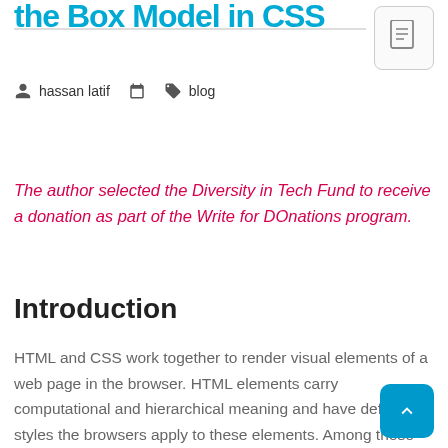the Box Model in CSS
[Figure (illustration): Document icon with lines representing text, shown in a rounded rectangle box]
hassan latif    blog
The author selected the Diversity in Tech Fund to receive a donation as part of the Write for DOnations program.
Introduction
HTML and CSS work together to render visual elements of a web page in the browser. HTML elements carry computational and hierarchical meaning and have default styles the browsers apply to these elements. Among these default styles is the display property. The value of this property affects